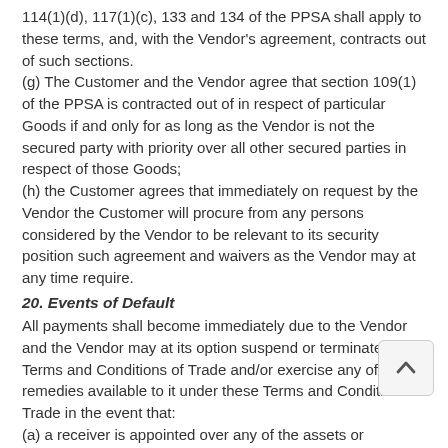114(1)(d), 117(1)(c), 133 and 134 of the PPSA shall apply to these terms, and, with the Vendor's agreement, contracts out of such sections.
(g) The Customer and the Vendor agree that section 109(1) of the PPSA is contracted out of in respect of particular Goods if and only for as long as the Vendor is not the secured party with priority over all other secured parties in respect of those Goods;
(h) the Customer agrees that immediately on request by the Vendor the Customer will procure from any persons considered by the Vendor to be relevant to its security position such agreement and waivers as the Vendor may at any time require.
20. Events of Default
All payments shall become immediately due to the Vendor and the Vendor may at its option suspend or terminate these Terms and Conditions of Trade and/or exercise any of the remedies available to it under these Terms and Conditions of Trade in the event that:
(a) a receiver is appointed over any of the assets or undertaking of the Customer;
(b) an application for the appointment of a liquidator is filed against the Customer which remains unsatisfied